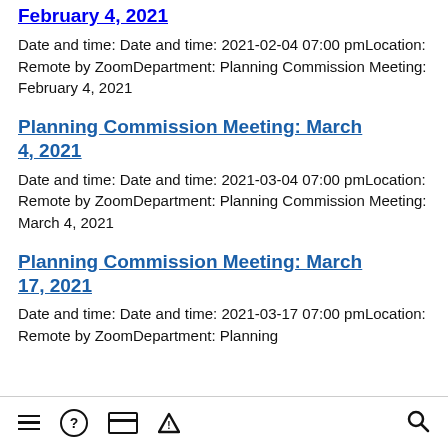February 4, 2021
Date and time: Date and time: 2021-02-04 07:00 pmLocation: Remote by ZoomDepartment: Planning Commission Meeting: February 4, 2021
Planning Commission Meeting: March 4, 2021
Date and time: Date and time: 2021-03-04 07:00 pmLocation: Remote by ZoomDepartment: Planning Commission Meeting: March 4, 2021
Planning Commission Meeting: March 17, 2021
Date and time: Date and time: 2021-03-17 07:00 pmLocation: Remote by ZoomDepartment: Planning
≡  ?  🃏  ⚠  🔍